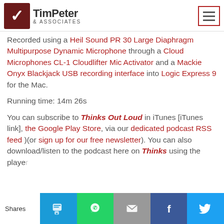Tim Peter & Associates
Recorded using a Heil Sound PR 30 Large Diaphragm Multipurpose Dynamic Microphone through a Cloud Microphones CL-1 Cloudlifter Mic Activator and a Mackie Onyx Blackjack USB recording interface into Logic Express 9 for the Mac.
Running time: 14m 26s
You can subscribe to Thinks Out Loud in iTunes [iTunes link], the Google Play Store, via our dedicated podcast RSS feed )(or sign up for our free newsletter). You can also download/listen to the podcast here on Thinks using the player
Shares